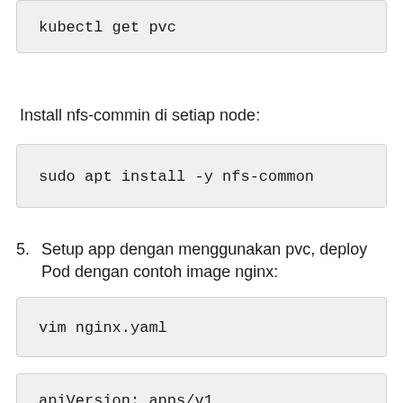kubectl get pvc
Install nfs-commin di setiap node:
sudo apt install -y nfs-common
5. Setup app dengan menggunakan pvc, deploy Pod dengan contoh image nginx:
vim nginx.yaml
apiVersion: apps/v1